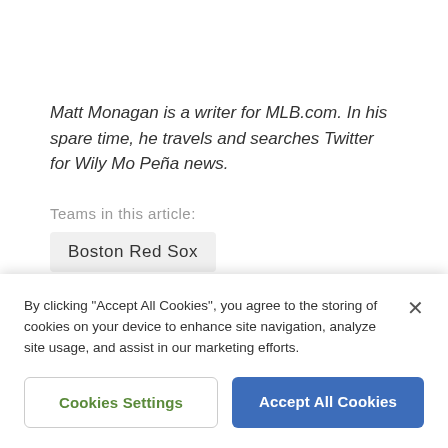Matt Monagan is a writer for MLB.com. In his spare time, he travels and searches Twitter for Wily Mo Peña news.
Teams in this article:
Boston Red Sox
Los Angeles Dodgers
Players in this article: Mookie Betts  Joe Kelly
By clicking "Accept All Cookies", you agree to the storing of cookies on your device to enhance site navigation, analyze site usage, and assist in our marketing efforts.
Cookies Settings
Accept All Cookies